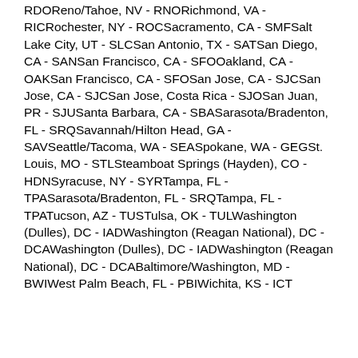RDOReno/Tahoe, NV - RNORichmond, VA - RICRochester, NY - ROCSacramento, CA - SMFSalt Lake City, UT - SLCSan Antonio, TX - SATSan Diego, CA - SANSan Francisco, CA - SFOOakland, CA - OAKSan Francisco, CA - SFOSan Jose, CA - SJCSan Jose, CA - SJCSan Jose, Costa Rica - SJOSan Juan, PR - SJUSanta Barbara, CA - SBASarasota/Bradenton, FL - SRQSavannah/Hilton Head, GA - SAVSeattle/Tacoma, WA - SEASpokane, WA - GEGSt. Louis, MO - STLSteamboat Springs (Hayden), CO - HDNSyracuse, NY - SYRTampa, FL - TPASarasota/Bradenton, FL - SRQTampa, FL - TPATucson, AZ - TUSTulsa, OK - TULWashington (Dulles), DC - IADWashington (Reagan National), DC - DCAWashington (Dulles), DC - IADWashington (Reagan National), DC - DCABaltimore/Washington, MD - BWIWest Palm Beach, FL - PBIWichita, KS - ICT